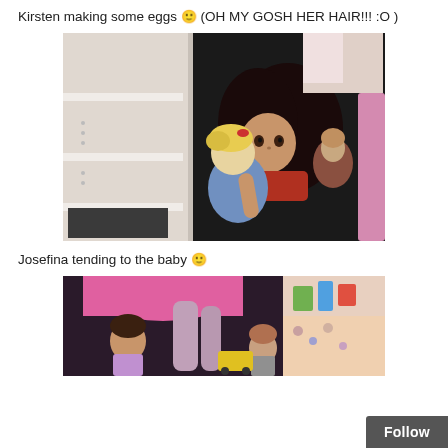Kirsten making some eggs 🙂 (OH MY GOSH HER HAIR!!! :O )
[Figure (photo): Two dolls posed together — one with long dark hair holding a smaller baby doll with blonde hair wearing a blue outfit, near a white shelf.]
Josefina tending to the baby 🙂
[Figure (photo): Dolls arranged in a play scene with pink and colorful items, partially visible at the bottom of the page.]